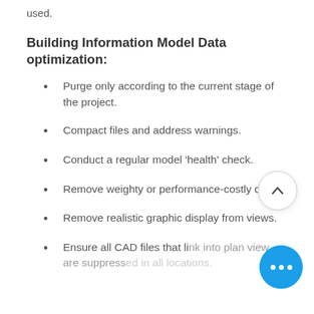used.
Building Information Model Data optimization:
Purge only according to the current stage of the project.
Compact files and address warnings.
Conduct a regular model 'health' check.
Remove weighty or performance-costly data.
Remove realistic graphic display from views.
Ensure all CAD files that link into plan view are suppressed in all locations.